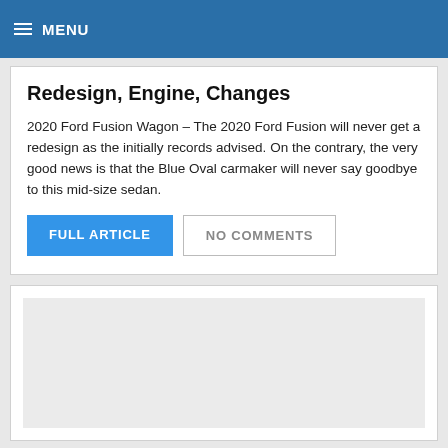MENU
Redesign, Engine, Changes
2020 Ford Fusion Wagon – The 2020 Ford Fusion will never get a redesign as the initially records advised. On the contrary, the very good news is that the Blue Oval carmaker will never say goodbye to this mid-size sedan.
FULL ARTICLE   NO COMMENTS
[Figure (photo): Gray placeholder image for a second article card]